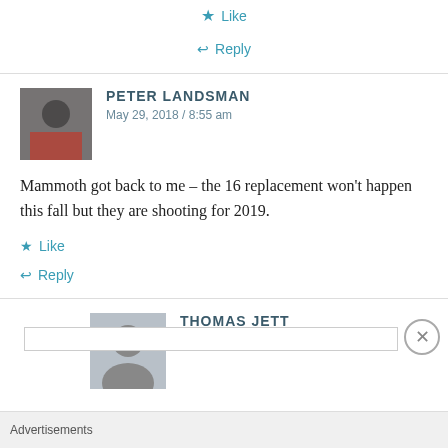★ Like
↩ Reply
PETER LANDSMAN
May 29, 2018 / 8:55 am
Mammoth got back to me – the 16 replacement won't happen this fall but they are shooting for 2019.
★ Like
↩ Reply
THOMAS JETT
May 29, 2018 / 10:23 am
Advertisements